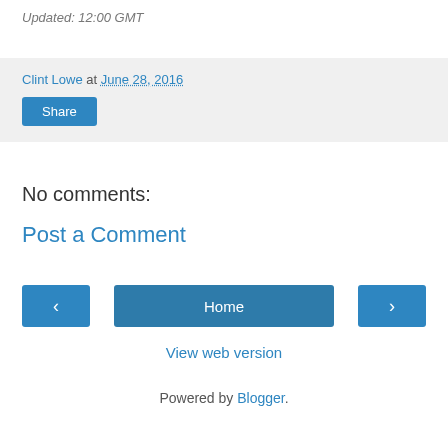Updated: 12:00 GMT
Clint Lowe at June 28, 2016
Share
No comments:
Post a Comment
‹
Home
›
View web version
Powered by Blogger.